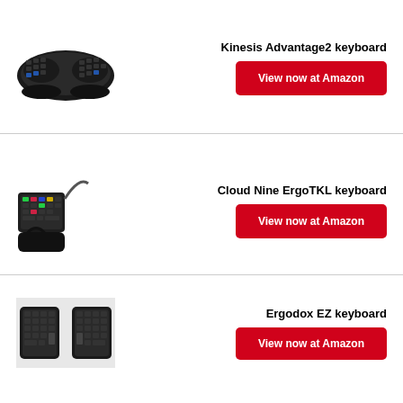[Figure (photo): Kinesis Advantage2 ergonomic keyboard, black, curved split design]
Kinesis Advantage2 keyboard
View now at Amazon
[Figure (photo): Cloud Nine ErgoTKL ergonomic keyboard, black, tenkeyless split design with RGB lighting]
Cloud Nine ErgoTKL keyboard
View now at Amazon
[Figure (photo): Ergodox EZ ergonomic keyboard, black, split design on white background]
Ergodox EZ keyboard
View now at Amazon